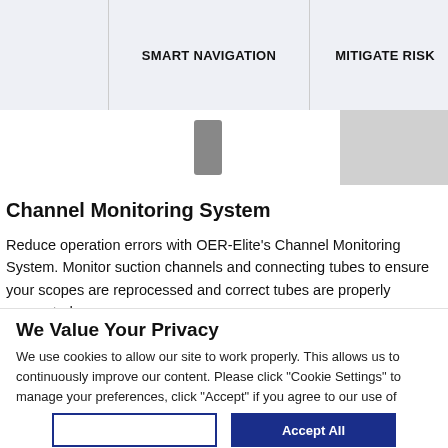SMART NAVIGATION | MITIGATE RISK | R...
Channel Monitoring System
Reduce operation errors with OER-Elite's Channel Monitoring System. Monitor suction channels and connecting tubes to ensure your scopes are reprocessed and correct tubes are properly connected.
We Value Your Privacy
We use cookies to allow our site to work properly. This allows us to continuously improve our content. Please click "Cookie Settings" to manage your preferences, click "Accept" if you agree to our use of cookies, or "Reject" if you only agree to necessary cookies. Cookie Policy